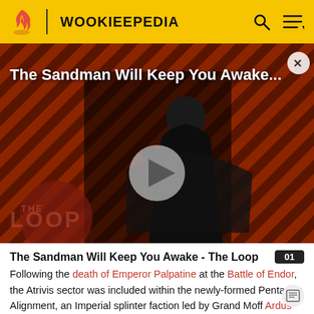WOOKIEEPEDIA
[Figure (screenshot): A promotional video thumbnail for 'The Sandman Will Keep You Awake...' showing a dark-cloaked figure against a diagonal red and black striped background. A large play button triangle is centered on the image. In the lower left is 'THE LOOP' text in a circular/speech bubble watermark. A close (X) button appears in the upper right corner.]
The Sandman Will Keep You Awake - The Loop
Following the death of Emperor Palpatine at the Battle of Endor, the Atrivis sector was included within the newly-formed Pentastar Alignment, an Imperial splinter faction led by Grand Moff Ardus Kaine. The Alignment lent forces